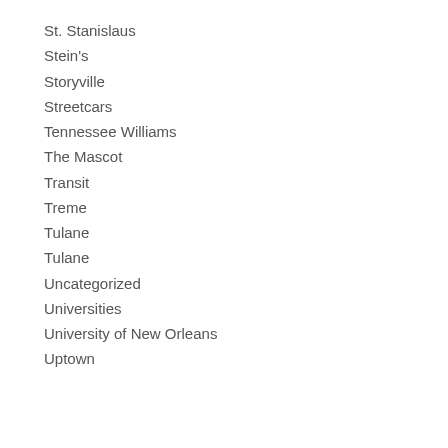St. Stanislaus
Stein's
Storyville
Streetcars
Tennessee Williams
The Mascot
Transit
Treme
Tulane
Tulane
Uncategorized
Universities
University of New Orleans
Uptown